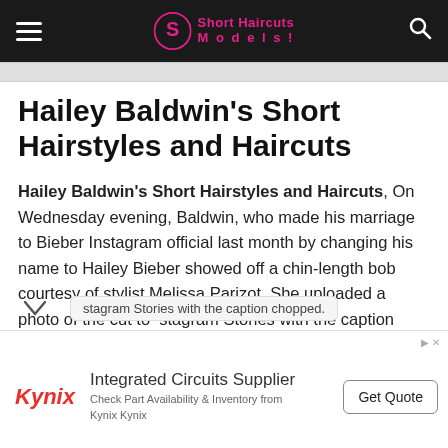Short Haircuts Models!
Hailey Baldwin’s Short Hairstyles and Haircuts
Hailey Baldwin’s Short Hairstyles and Haircuts, On Wednesday evening, Baldwin, who made his marriage to Bieber Instagram official last month by changing his name to Hailey Bieber showed off a chin-length bob courtesy of stylist Melissa Parizot. She uploaded a photo of the cut to Instagram Stories with the caption chopped.
[Figure (other): Advertisement banner for Kynix - Integrated Circuits Supplier with Get Quote button]